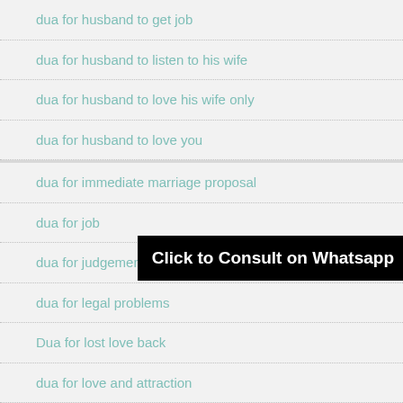dua for husband to get job
dua for husband to listen to his wife
dua for husband to love his wife only
dua for husband to love you
dua for immediate marriage proposal
dua for job
[Figure (other): Black banner overlay with text: Click to Consult on Whatsapp]
dua for judgement to be in your favour in the court
dua for legal problems
Dua for lost love back
dua for love and attraction